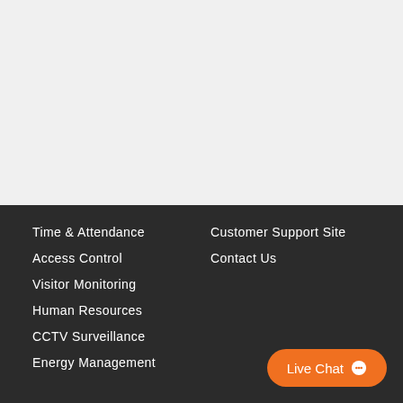[Figure (other): Light grey empty top section of a webpage]
Time & Attendance
Access Control
Visitor Monitoring
Human Resources
CCTV Surveillance
Energy Management
Customer Support Site
Contact Us
Live Chat